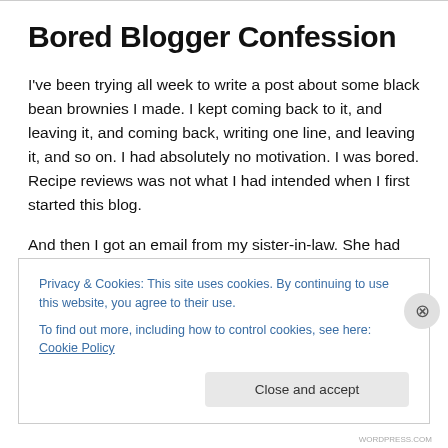Bored Blogger Confession
I've been trying all week to write a post about some black bean brownies I made. I kept coming back to it, and leaving it, and coming back, writing one line, and leaving it, and so on. I had absolutely no motivation. I was bored. Recipe reviews was not what I had intended when I first started this blog.
And then I got an email from my sister-in-law. She had
Privacy & Cookies: This site uses cookies. By continuing to use this website, you agree to their use.
To find out more, including how to control cookies, see here: Cookie Policy
Close and accept